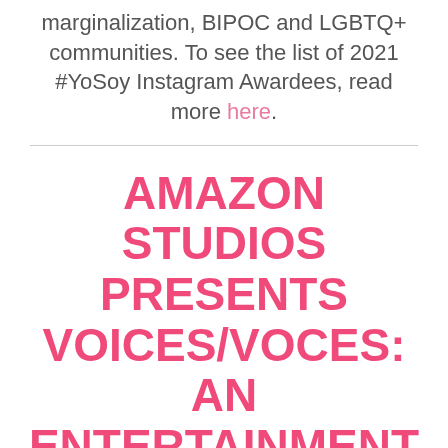marginalization, BIPOC and LGBTQ+ communities. To see the list of 2021 #YoSoy Instagram Awardees, read more here.
AMAZON STUDIOS PRESENTS VOICES/VOCES: AN ENTERTAINMENT CELEBRATION FOR...